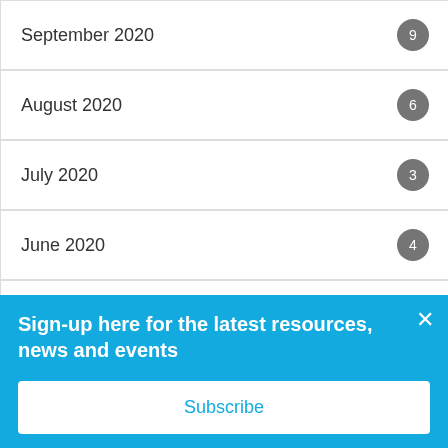September 2020 9
August 2020 6
July 2020 3
June 2020 4
May 2020 2
April 2020 9
March 2020 6
February 2020 6
Sign-up here for the latest resources, news and events
Subscribe